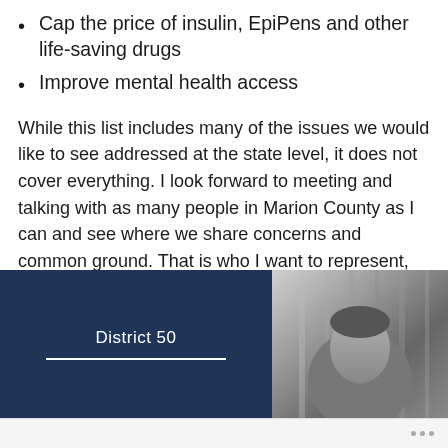Cap the price of insulin, EpiPens and other life-saving drugs
Improve mental health access
While this list includes many of the issues we would like to see addressed at the state level, it does not cover everything. I look forward to meeting and talking with as many people in Marion County as I can and see where we share concerns and common ground. That is who I want to represent, every resident of Marion County.
[Figure (other): District 50 card with dark navy blue background showing 'District 50' text and a white horizontal line on the left, and a black-and-white photo of a person on the right]